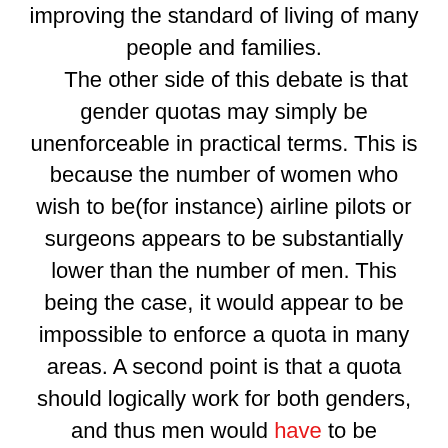improving the standard of living of many people and families. The other side of this debate is that gender quotas may simply be unenforceable in practical terms. This is because the number of women who wish to be(for instance) airline pilots or surgeons appears to be substantially lower than the number of men. This being the case, it would appear to be impossible to enforce a quota in many areas. A second point is that a quota should logically work for both genders, and thus men would have to be employed in traditionally female roles such as primary teaching or nursing. Again, we would find ourselves asking men to take on jobs which they are not inclined to do. A